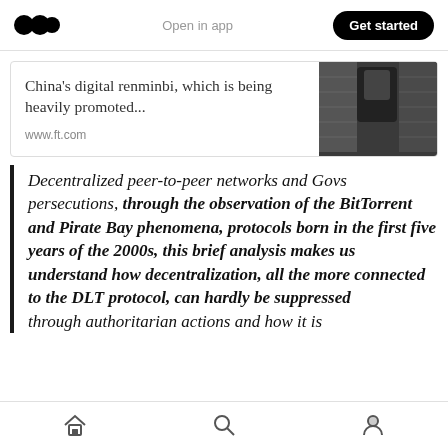Open in app | Get started
[Figure (screenshot): Article preview card from www.ft.com with headline 'China's digital renminbi, which is being heavily promoted...' and a photo of a person in front of a building]
Decentralized peer-to-peer networks and Govs persecutions, through the observation of the BitTorrent and Pirate Bay phenomena, protocols born in the first five years of the 2000s, this brief analysis makes us understand how decentralization, all the more connected to the DLT protocol, can hardly be suppressed through authoritarian actions and how it is
Home | Search | Profile